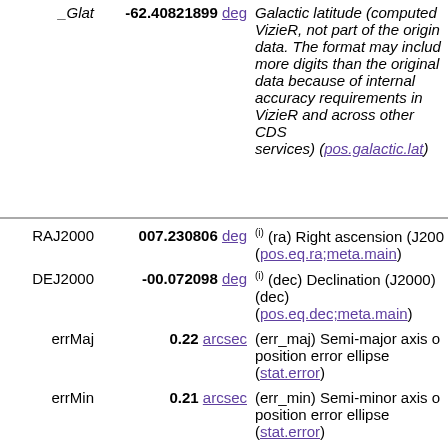| Name | Value | Description |
| --- | --- | --- |
| _Glat | -62.40821899 deg | Galactic latitude (computed by VizieR, not part of the original data. The format may include more digits than the original data because of internal accuracy requirements in VizieR and across other CDS services) (pos.galactic.lat) |
| RAJ2000 | 007.230806 deg | (i) (ra) Right ascension (J2000) (pos.eq.ra;meta.main) |
| DEJ2000 | -00.072098 deg | (i) (dec) Declination (J2000) (dec) (pos.eq.dec;meta.main) |
| errMaj | 0.22 arcsec | (err_maj) Semi-major axis of position error ellipse (stat.error) |
| errMin | 0.21 arcsec | (err_min) Semi-minor axis of position error ellipse (stat.error) |
| errPA | 72 deg | [0,180] (err_ang) Position angle of error ellipse major axis (E of N) (stat.error) |